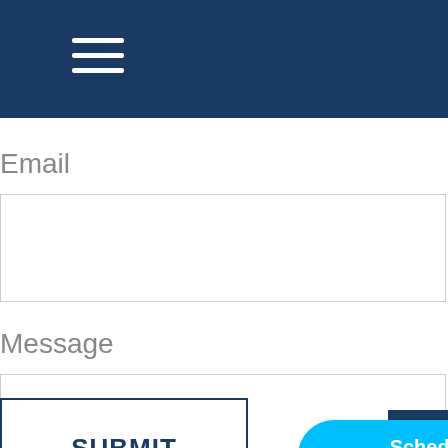[Figure (screenshot): Dark blue navigation bar with hamburger menu icon (three horizontal white lines) on the left side.]
Email
[Figure (screenshot): Empty email input text box with a light grey border.]
Message
[Figure (screenshot): Empty message textarea with a light grey border and resize handle in bottom right corner.]
[Figure (screenshot): SUBMIT button with dark blue border and bold dark blue text, and a Calendly 'Schedule time with us!' badge button in cyan/light blue with white text.]